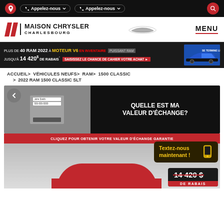Appelez-nous  Appelez-nous
[Figure (logo): Maison Chrysler Charlesbourg logo with red slashes and Chrysler wing emblem, MENU button]
[Figure (infographic): Promotional banner: PLUS DE 40 RAM 2022 À MOTEUR V6 EN INVENTAIRE JUSQU'À 14 420$ DE RABAIS with blue RAM truck image]
ACCUEIL > VÉHICULES NEUFS > RAM > 1500 CLASSIC > 2022 RAM 1500 CLASSIC SLT
[Figure (infographic): Trade-in value banner: QUELLE EST MA VALEUR D'ÉCHANGE? with form mock-up on left, CLIQUEZ POUR OBTENIR VOTRE VALEUR D'ÉCHANGE GARANTIE on red bar]
[Figure (infographic): Textez-nous maintenant! popup badge in dark gold color with phone icon]
[Figure (infographic): 14 420 $ DE RABAIS price badge in dark background with red DE RABAIS label]
[Figure (photo): Red RAM 1500 Classic SLT truck partially visible at bottom of page]